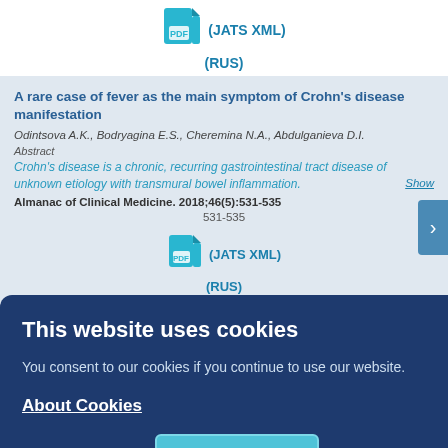[Figure (other): PDF icon with links: (JATS XML) and (RUS)]
A rare case of fever as the main symptom of Crohn's disease manifestation
Odintsova A.K., Bodryagina E.S., Cheremina N.A., Abdulganieva D.I.
Abstract
Crohn's disease is a chronic, recurring gastrointestinal tract disease of unknown etiology with transmural bowel inflammation. Show
Almanac of Clinical Medicine. 2018;46(5):531-535
531-535
[Figure (other): PDF icon with links: (JATS XML) and (RUS)]
This website uses cookies
You consent to our cookies if you continue to use our website.
About Cookies
OK
Glomerulonephritis as a variant of extra-intestinal manifestation of ulcerative colitis
Barysheva O.Y., Atamanova A.S., Samusenko A.A.